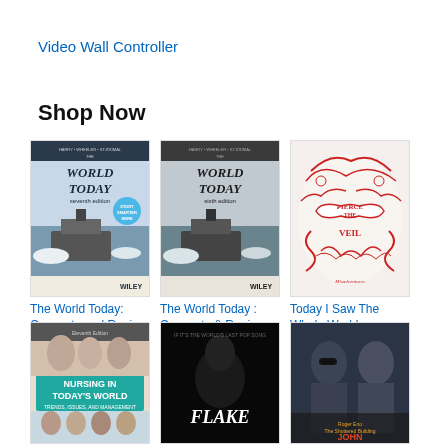Video Wall Controller
Shop Now
[Figure (photo): Book cover: The World Today: Concepts and Regions in Geography with blue tones, icebreaker ship]
The World Today: Concepts and Regi...
$122.95 ✓prime
★★★★☆ (39)
[Figure (photo): Book cover: The World Today: Concepts & Regions in Geography, grey tones, icebreaker ship]
The World Today : Concepts & Regions in Geography
$10.00
[Figure (photo): Album art: Pierce the Veil - Today I Saw The Whole World, red pen drawing style]
Today I Saw The Whole World
$1.29
★★★★★ (1)
[Figure (photo): Book cover: Nursing in Today's World, Eleventh Edition]
[Figure (photo): Book/album cover: Flake, dark background with figure]
[Figure (photo): Photo of person in sunglasses with text overlay]